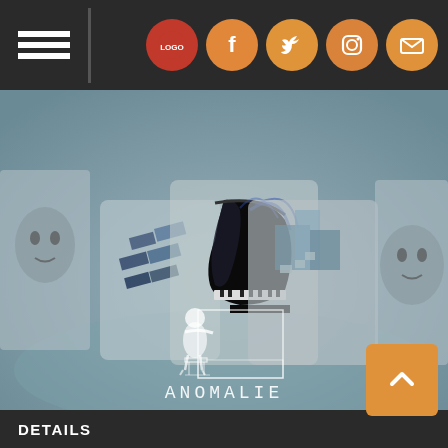[Figure (screenshot): Navigation bar with hamburger menu icon on left, vertical divider, and social media icon buttons on right (red logo, Facebook, Twitter, Instagram, Mail) on dark background]
[Figure (illustration): Album artwork for 'ANOMALIE' showing a gallery room with paintings of faces and objects on walls, and a glowing white figure sitting at a piano in the center. Text 'ANOMALIE' in white at the bottom.]
DETAILS